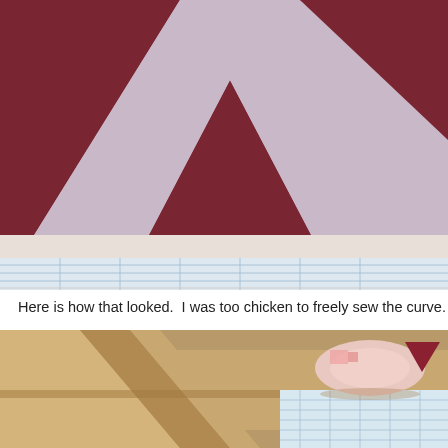[Figure (photo): Close-up photo of quilt fabric pieces in dark red/maroon and light pink/lavender colors arranged in triangular patterns on a white background, placed on a checkered surface.]
Here is how that looked.  I was too chicken to freely sew the curve.
[Figure (photo): Photo of a sewing machine or wooden tool with a rolled quilt fabric visible in the background, showing red and white patterned quilt pieces on a grid cutting mat.]